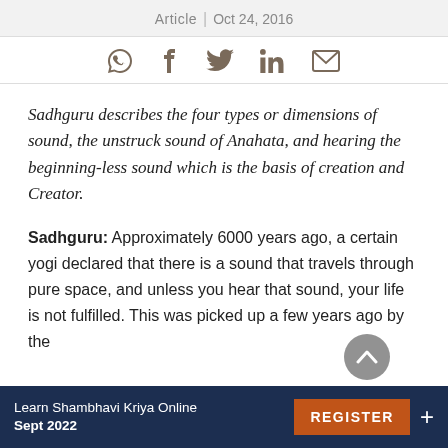Article | Oct 24, 2016
[Figure (other): Social share icons: WhatsApp, Facebook, Twitter, LinkedIn, Email]
Sadhguru describes the four types or dimensions of sound, the unstruck sound of Anahata, and hearing the beginning-less sound which is the basis of creation and Creator.
Sadhguru: Approximately 6000 years ago, a certain yogi declared that there is a sound that travels through pure space, and unless you hear that sound, your life is not fulfilled. This was picked up a few years ago by the
Learn Shambhavi Kriya Online Sept 2022   REGISTER   +